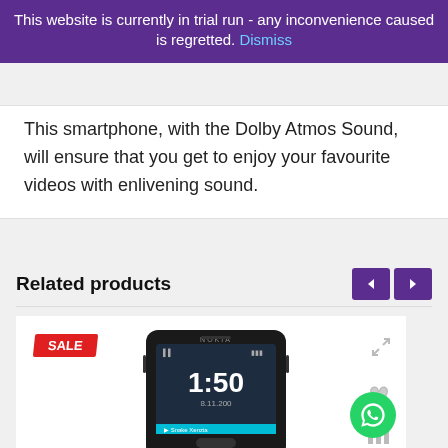This website is currently in trial run - any inconvenience caused is regretted. Dismiss
This smartphone, with the Dolby Atmos Sound, will ensure that you get to enjoy your favourite videos with enlivening sound.
Related products
[Figure (screenshot): Nokia mobile phone product card with SALE badge, showing Nokia 150 handset with lock screen displaying 1:50 and Snake Xenzia notification. Icons for expand, heart/wishlist, and bar chart visible on right side. WhatsApp button at bottom right.]